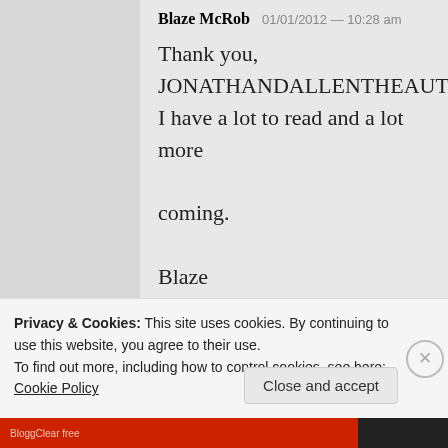Blaze McRob 01/01/2012 — 10:28 am
Thank you, JONATHANDALLENTHEAUTHOR! I have a lot to read and a lot more coming.

Blaze
REPLY
Privacy & Cookies: This site uses cookies. By continuing to use this website, you agree to their use.
To find out more, including how to control cookies, see here:
Cookie Policy
Close and accept